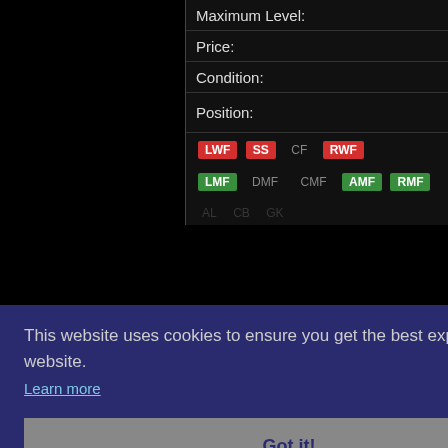| Label | Value |
| --- | --- |
| Maximum Level: | 29 |
| Price: | 51.000 |
| Condition: | D |
| Position: | RWF |
Position badges: LWF SS CF RWF LMF DMF CMF AMF RMF
Set Piece Taking
Curl:
Defensive Aware
Tackling:
Aggression:
Defensive Engag
Permali
Forum o
Facebo
Twitter:
This website uses cookies to ensure you get the best experience on our website.
Learn more
Got it!